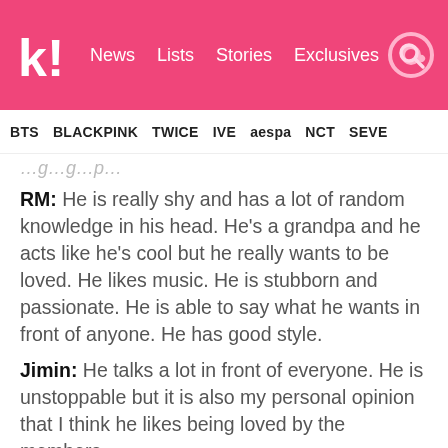koreaboo | News  Lists  Stories  Exclusives
BTS  BLACKPINK  TWICE  IVE  aespa  NCT  SEVE
RM: He is really shy and has a lot of random knowledge in his head. He's a grandpa and he acts like he's cool but he really wants to be loved. He likes music. He is stubborn and passionate. He is able to say what he wants in front of anyone. He has good style.
Jimin: He talks a lot in front of everyone. He is unstoppable but it is also my personal opinion that I think he likes being loved by the members.
RM